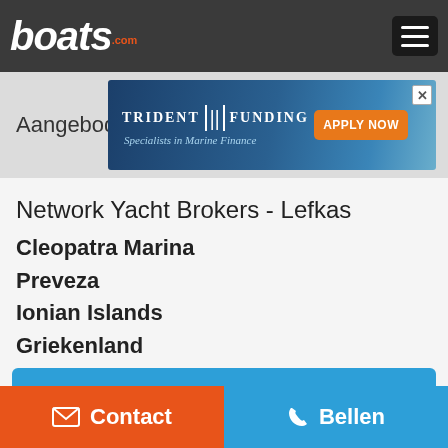boats.com
[Figure (screenshot): Trident Funding advertisement banner - Specialists in Marine Finance with APPLY NOW button and boat image]
Network Yacht Brokers - Lefkas
Cleopatra Marina
Preveza
Ionian Islands
Griekenland
+30 6945 347 870
Verkopers botenlijst bekijken
Contact   Bellen